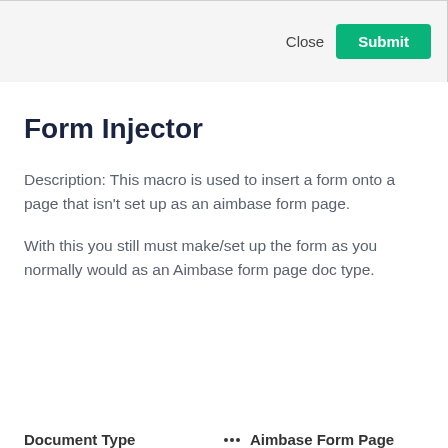[Figure (screenshot): Modal dialog footer with Close and Submit buttons on a light gray background]
Form Injector
Description: This macro is used to insert a form onto a page that isn't set up as an aimbase form page.
With this you still must make/set up the form as you normally would as an Aimbase form page doc type.
| Document Type | Aimbase Form Page |
| --- | --- |